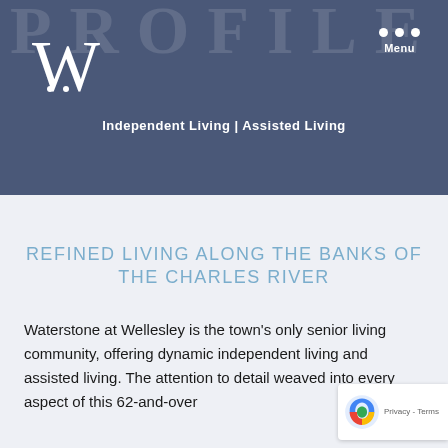Independent Living | Assisted Living
REFINED LIVING ALONG THE BANKS OF THE CHARLES RIVER
Waterstone at Wellesley is the town's only senior living community, offering dynamic independent living and assisted living. The attention to detail weaved into every aspect of this 62-and-over